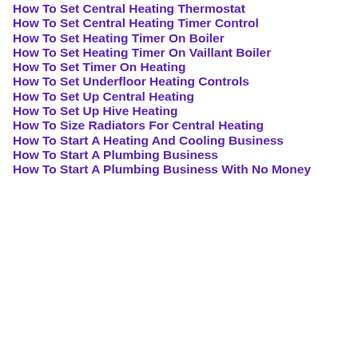How To Set Central Heating Thermostat
How To Set Central Heating Timer Control
How To Set Heating Timer On Boiler
How To Set Heating Timer On Vaillant Boiler
How To Set Timer On Heating
How To Set Underfloor Heating Controls
How To Set Up Central Heating
How To Set Up Hive Heating
How To Size Radiators For Central Heating
How To Start A Heating And Cooling Business
How To Start A Plumbing Business
How To Start A Plumbing Business With No Money